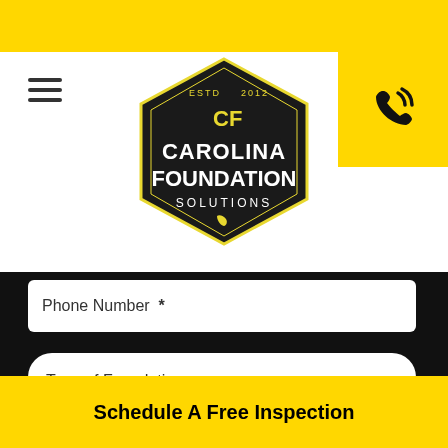[Figure (logo): Carolina Foundation Solutions hexagon logo with white text on dark background]
Phone Number  *
Type of Foundation
Promo Code
Contact Us
Schedule A Free Inspection